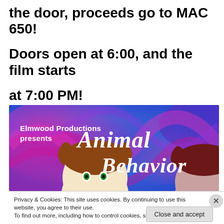the door, proceeds go to MAC 650!
Doors open at 6:00, and the film starts at 7:00 PM!
[Figure (illustration): Movie banner for 'Animal Behavior' by Elmwood Productions, showing puppet characters on a colorful blue and magenta background. Text reads 'Elmwood Productions presents Animal Behavior'.]
Privacy & Cookies: This site uses cookies. By continuing to use this website, you agree to their use.
To find out more, including how to control cookies, see here: Cookie Policy
Close and accept